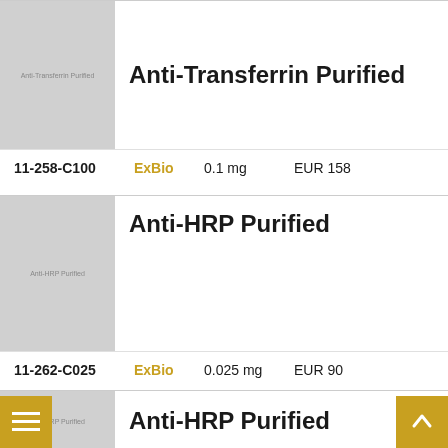[Figure (photo): Product thumbnail image placeholder labeled 'Anti-Transferrin Purified' on grey background]
Anti-Transferrin Purified
11-258-C100   ExBio   0.1 mg   EUR 158
[Figure (photo): Product thumbnail image placeholder labeled 'Anti-HRP Purified' on grey background]
Anti-HRP Purified
11-262-C025   ExBio   0.025 mg   EUR 90
[Figure (photo): Product thumbnail image placeholder labeled 'Anti-HRP Purified' on grey background (second entry, partially visible)]
Anti-HRP Purified